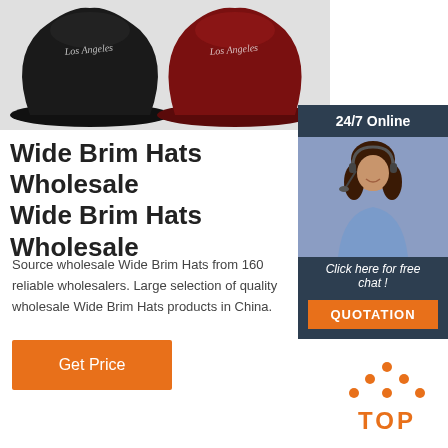[Figure (photo): Two bucket hats — one black with white script text and one dark red/maroon with white script text, shown on a light gray background]
[Figure (infographic): 24/7 Online customer service panel with a female agent wearing a headset, a 'Click here for free chat!' message, and an orange QUOTATION button]
Wide Brim Hats Wholesale Wide Brim Hats Wholesale
Source wholesale Wide Brim Hats from 160 reliable wholesalers. Large selection of quality wholesale Wide Brim Hats products in China.
[Figure (other): Orange Get Price button]
[Figure (logo): TOP badge with orange dots arranged in triangle pattern above orange TOP text]